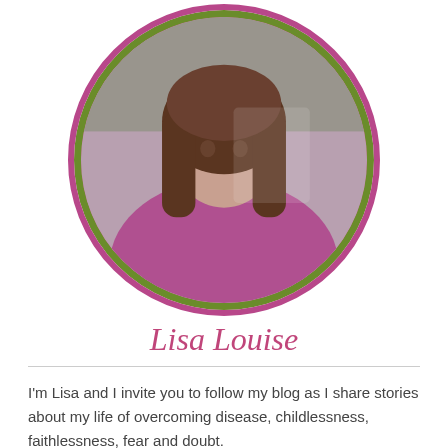[Figure (photo): Circular profile photo of Lisa Louise, a woman with long brown hair wearing a pink/magenta top, framed with a green and pink circular border.]
Lisa Louise
I'm Lisa and I invite you to follow my blog as I share stories about my life of overcoming disease, childlessness, faithlessness, fear and doubt.
Follow My Blog via Email